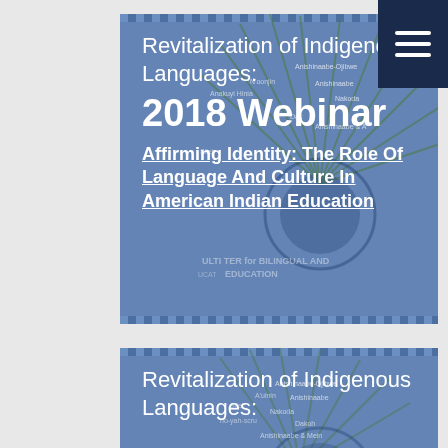[Figure (other): Navigation menu button (hamburger icon) in dark navy blue, top right corner]
Revitalization of Indigenous Languages: 2018 Webinar
Affirming Identity: The Role Of Language And Culture In American Indian Education
Revitalization of Indigenous Languages: